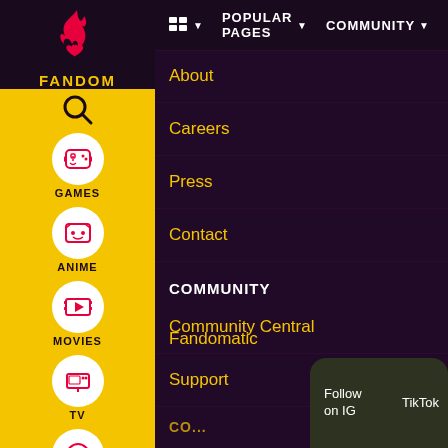[Figure (screenshot): Fandom website navigation screenshot showing left sidebar with FANDOM logo, GAMES, ANIME, MOVIES, TV, VIDEO nav icons, top nav bar with POPULAR PAGES and COMMUNITY dropdowns, and main content area showing About, Careers, Press, Contact menu links, COMMUNITY section header with Community Central, Support links, and a bottom notification bar with Follow on IG, TikTok, Join Fan Lab, Check out Fandom Quizzes and cha options.]